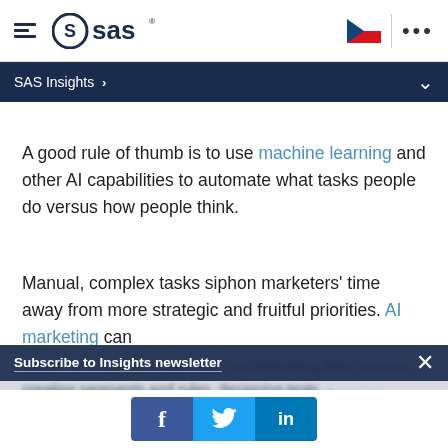[Figure (logo): SAS logo with hamburger menu icon on the left, Czech flag and three dots on the right in the top navigation bar]
SAS Insights >
A good rule of thumb is to use machine learning and other AI capabilities to automate what tasks people do versus how people think.
Manual, complex tasks siphon marketers' time away from more strategic and fruitful priorities. AI marketing can speed up important tasks such as integrating data sources, creating segments and rules, designing tests, etc. AI can also help marketers automatically discover
Subscribe to Insights newsletter
[Figure (infographic): Social media share icons: Facebook (f), Twitter (bird), LinkedIn (in)]